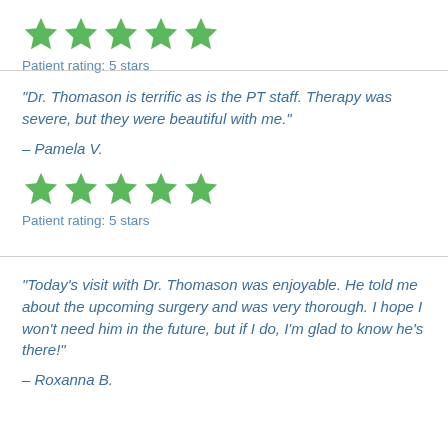[Figure (other): Five green star rating icons]
Patient rating: 5 stars
“Dr. Thomason is terrific as is the PT staff. Therapy was severe, but they were beautiful with me.”
– Pamela V.
[Figure (other): Five green star rating icons]
Patient rating: 5 stars
“Today’s visit with Dr. Thomason was enjoyable. He told me about the upcoming surgery and was very thorough. I hope I won’t need him in the future, but if I do, I’m glad to know he’s there!”
– Roxanna B.